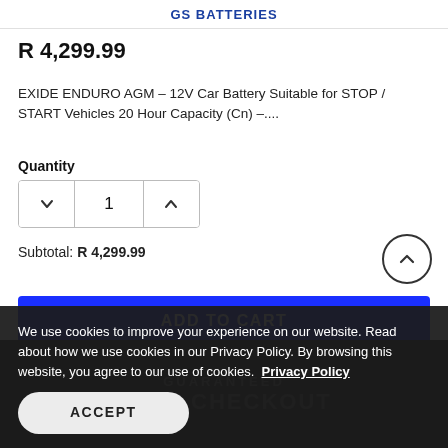GS BATTERIES
R 4,299.99
EXIDE ENDURO AGM – 12V Car Battery Suitable for STOP / START Vehicles 20 Hour Capacity (Cn) –....
Quantity
1
Subtotal: R 4,299.99
ADD TO CART
We use cookies to improve your experience on our website. Read about how we use cookies in our Privacy Policy. By browsing this website, you agree to our use of cookies. Privacy Policy
ACCEPT
GUARANTEED SAFE CHECKOUT